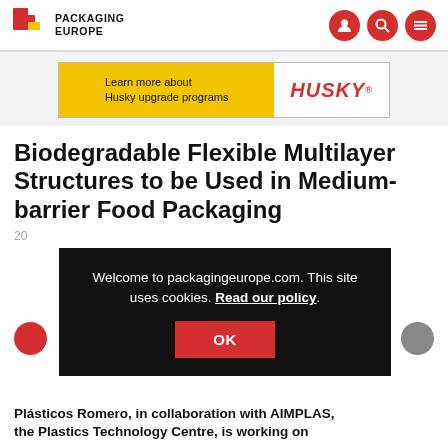PACKAGING EUROPE
[Figure (screenshot): Husky advertisement banner: yellow panel with text 'Learn more about Husky upgrade programs' and red 'HUSKY®' brand name on white background]
Biodegradable Flexible Multilayer Structures to be Used in Medium-barrier Food Packaging
20...
[Figure (screenshot): Cookie consent overlay on dark background: 'Welcome to packagingeurope.com. This site uses cookies. Read our policy.' with OK button]
Plásticos Romero, in collaboration with AIMPLAS, the Plastics Technology Centre, is working on...